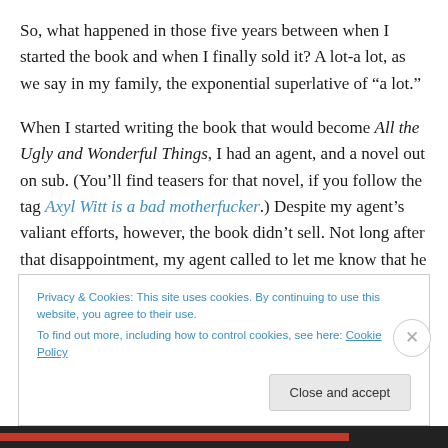So, what happened in those five years between when I started the book and when I finally sold it? A lot-a lot, as we say in my family, the exponential superlative of “a lot.”
When I started writing the book that would become All the Ugly and Wonderful Things, I had an agent, and a novel out on sub. (You’ll find teasers for that novel, if you follow the tag Axyl Witt is a bad motherfucker.) Despite my agent’s valiant efforts, however, the book didn’t sell. Not long after that disappointment, my agent called to let me know that he was leaving the business of literary agenting.
Privacy & Cookies: This site uses cookies. By continuing to use this website, you agree to their use.
To find out more, including how to control cookies, see here: Cookie Policy